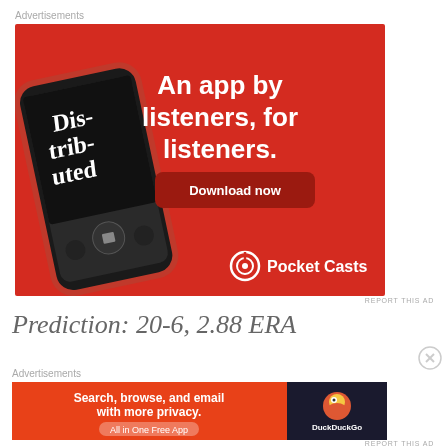Advertisements
[Figure (illustration): Pocket Casts app advertisement on red background showing a smartphone with the 'Distributed' podcast, text 'An app by listeners, for listeners.' with a 'Download now' button and Pocket Casts logo]
REPORT THIS AD
Prediction: 20-6, 2.88 ERA
Advertisements
[Figure (illustration): DuckDuckGo advertisement: 'Search, browse, and email with more privacy. All in One Free App' on orange background with DuckDuckGo logo on dark right panel]
REPORT THIS AD